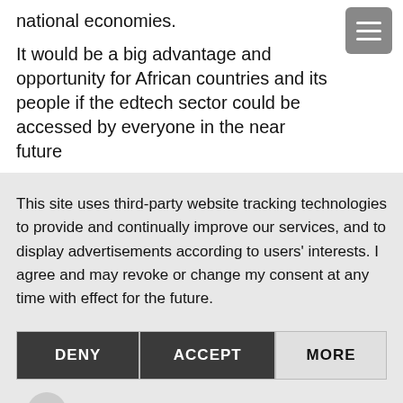national economies.
It would be a big advantage and opportunity for African countries and its people if the edtech sector could be accessed by everyone in the near future
This site uses third-party website tracking technologies to provide and continually improve our services, and to display advertisements according to users' interests. I agree and may revoke or change my consent at any time with effect for the future.
[Figure (other): Cookie consent buttons: DENY, ACCEPT, MORE]
[Figure (logo): Powered by usercentrics & eRecht24 branding footer]